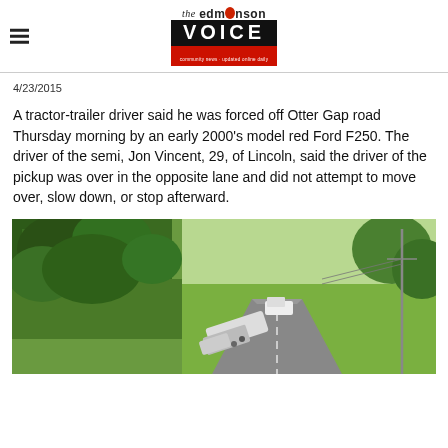the edmonson VOICE
4/23/2015
A tractor-trailer driver said he was forced off Otter Gap road Thursday morning by an early 2000's model red Ford F250. The driver of the semi, Jon Vincent, 29, of Lincoln, said the driver of the pickup was over in the opposite lane and did not attempt to move over, slow down, or stop afterward.
[Figure (photo): Aerial view of a tractor-trailer truck that has gone off the road and crashed, with another truck on the road nearby, surrounded by green trees and fields.]